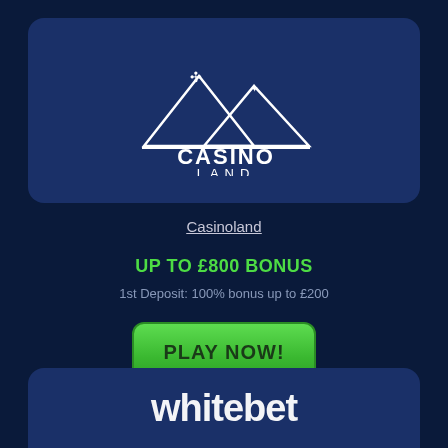[Figure (logo): Casinoland logo: two mountain peaks with a four-leaf clover and card suit symbol, with CASINO LAND text below, on a dark blue rounded rectangle card]
Casinoland
UP TO £800 BONUS
1st Deposit: 100% bonus up to £200
[Figure (other): Green PLAY NOW! button]
[Figure (logo): Whitebet logo partial: white bold text 'whitebet' on dark blue rounded card, partially visible at bottom]